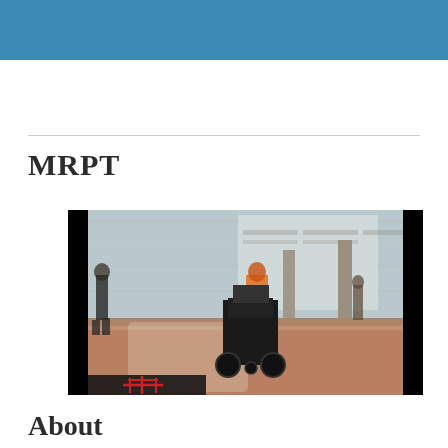MRPT
[Figure (photo): A robotic wheelchair or mobile robot platform viewed from behind in an indoor hall or corridor. The scene shows a person walking in the background, pillars, and a large open space with a reddish-brown floor. At the bottom of the image there is a dark overlay bar with a red crosshair/target graphic.]
About